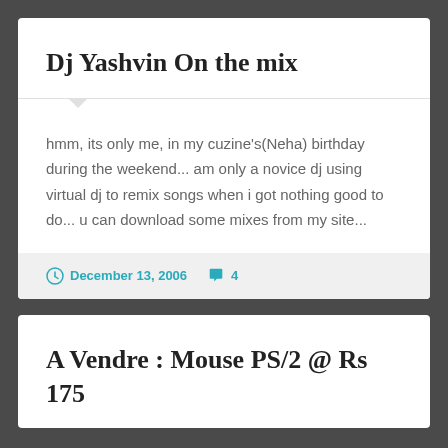Dj Yashvin On the mix
hmm, its only me, in my cuzine's(Neha) birthday during the weekend... am only a novice dj using virtual dj to remix songs when i got nothing good to do... u can download some mixes from my site...
December 13, 2006  4
A Vendre : Mouse PS/2 @ Rs 175